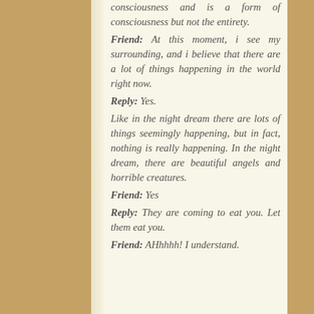consciousness and is a form of consciousness but not the entirety.
Friend: At this moment, i see my surrounding, and i believe that there are a lot of things happening in the world right now.
Reply: Yes.
Like in the night dream there are lots of things seemingly happening, but in fact, nothing is really happening. In the night dream, there are beautiful angels and horrible creatures.
Friend: Yes
Reply: They are coming to eat you. Let them eat you.
Friend: AHhhhh! I understand.